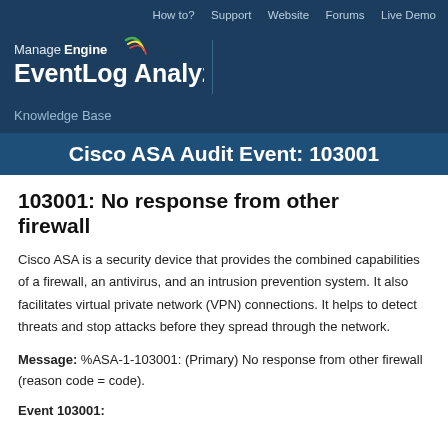How to?  Support  Website  Forums  Live Demo
[Figure (logo): ManageEngine EventLog Analyzer logo with swoosh icon]
Knowledge Base
Cisco ASA Audit Event: 103001
103001: No response from other firewall
Cisco ASA is a security device that provides the combined capabilities of a firewall, an antivirus, and an intrusion prevention system. It also facilitates virtual private network (VPN) connections. It helps to detect threats and stop attacks before they spread through the network.
Message: %ASA-1-103001: (Primary) No response from other firewall (reason code = code).
Event 103001: